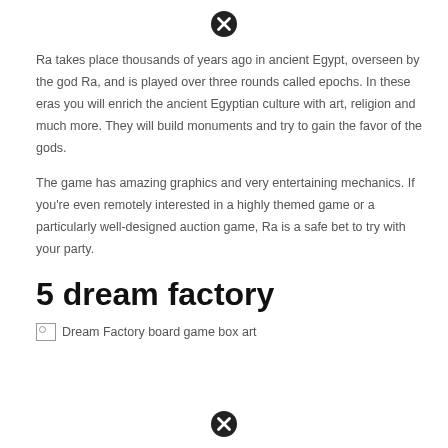[close icon]
Ra takes place thousands of years ago in ancient Egypt, overseen by the god Ra, and is played over three rounds called epochs. In these eras you will enrich the ancient Egyptian culture with art, religion and much more. They will build monuments and try to gain the favor of the gods.
The game has amazing graphics and very entertaining mechanics. If you're even remotely interested in a highly themed game or a particularly well-designed auction game, Ra is a safe bet to try with your party.
5 dream factory
[Figure (photo): Dream Factory board game box art (broken image placeholder)]
[close icon]